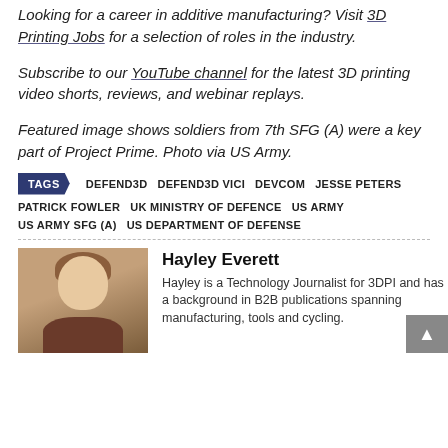Looking for a career in additive manufacturing? Visit 3D Printing Jobs for a selection of roles in the industry.
Subscribe to our YouTube channel for the latest 3D printing video shorts, reviews, and webinar replays.
Featured image shows soldiers from 7th SFG (A) were a key part of Project Prime. Photo via US Army.
TAGS  DEFEND3D  DEFEND3D VICI  DEVCOM  JESSE PETERS  PATRICK FOWLER  UK MINISTRY OF DEFENCE  US ARMY  US ARMY SFG (A)  US DEPARTMENT OF DEFENSE
Hayley Everett
Hayley is a Technology Journalist for 3DPI and has a background in B2B publications spanning manufacturing, tools and cycling.